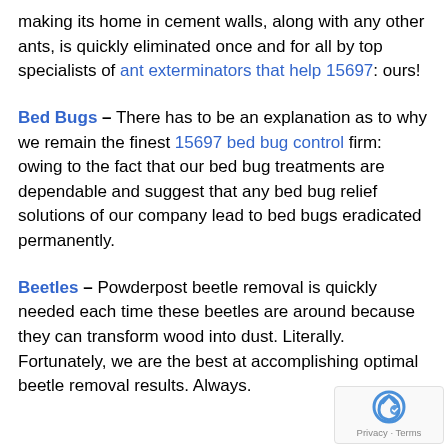making its home in cement walls, along with any other ants, is quickly eliminated once and for all by top specialists of ant exterminators that help 15697: ours!
Bed Bugs – There has to be an explanation as to why we remain the finest 15697 bed bug control firm: owing to the fact that our bed bug treatments are dependable and suggest that any bed bug relief solutions of our company lead to bed bugs eradicated permanently.
Beetles – Powderpost beetle removal is quickly needed each time these beetles are around because they can transform wood into dust. Literally. Fortunately, we are the best at accomplishing optimal beetle removal results. Always.